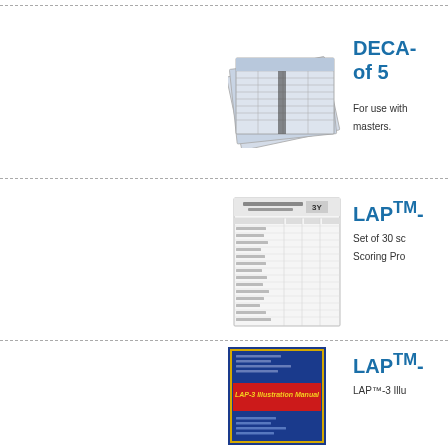[Figure (photo): Stack of DECA- record forms/sheets fanned out]
DECA- of 5
For use with masters.
[Figure (photo): LAP-3 scoring profile form sheet]
LAP™-
Set of 30 sc Scoring Pro
[Figure (photo): LAP-3 Illustration Manual blue book cover with red LAP-3 Illustration Manual label]
LAP™-
LAP™-3 Illu